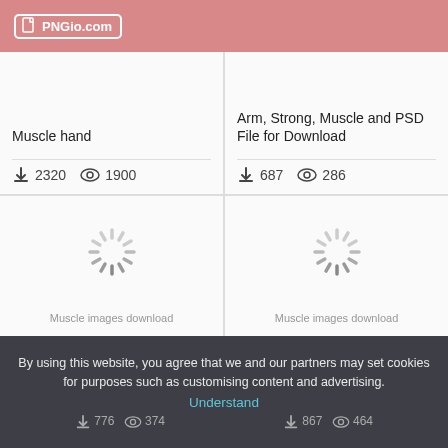PNGio.com
Muscle hand
2320  1900
Arm, Strong, Muscle and PSD File for Download
687  286
[Figure (illustration): Loading spinner icon (sunburst/starburst loading indicator)]
[Figure (illustration): Loading spinner icon (sunburst/starburst loading indicator)]
By using this website, you agree that we and our partners may set cookies for purposes such as customising content and advertising.
Muscle images download  Muscle images download
Understand
776  374  867  464